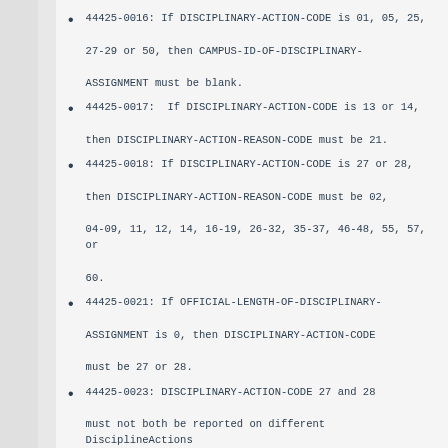44425-0016: If DISCIPLINARY-ACTION-CODE is 01, 05, 25, 27-29 or 50, then CAMPUS-ID-OF-DISCIPLINARY-ASSIGNMENT must be blank.
44425-0017: If DISCIPLINARY-ACTION-CODE is 13 or 14, then DISCIPLINARY-ACTION-REASON-CODE must be 21.
44425-0018: If DISCIPLINARY-ACTION-CODE is 27 or 28, then DISCIPLINARY-ACTION-REASON-CODE must be 02, 04-09, 11, 12, 14, 16-19, 26-32, 35-37, 46-48, 55, 57, or 60.
44425-0021: If OFFICIAL-LENGTH-OF-DISCIPLINARY-ASSIGNMENT is 0, then DISCIPLINARY-ACTION-CODE must be 27 or 28.
44425-0023: DISCIPLINARY-ACTION-CODE 27 and 28 must not both be reported on different DisciplineActions with the same TX-UNIQUE-STUDENT-ID, DISCIPLINARY-